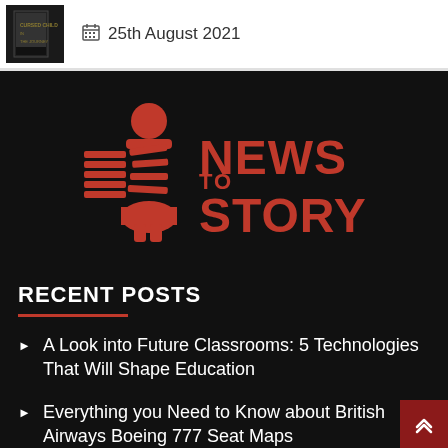[Figure (illustration): Dark book cover thumbnail image on the left]
25th August 2021
[Figure (logo): News To Story logo — red illustrated figure with newspaper pages and bold red text 'NEWS TO STORY' on black background]
RECENT POSTS
A Look into Future Classrooms: 5 Technologies That Will Shape Education
Everything you Need to Know about British Airways Boeing 777 Seat Maps
Bride goes viral after banning Husband's grandmother